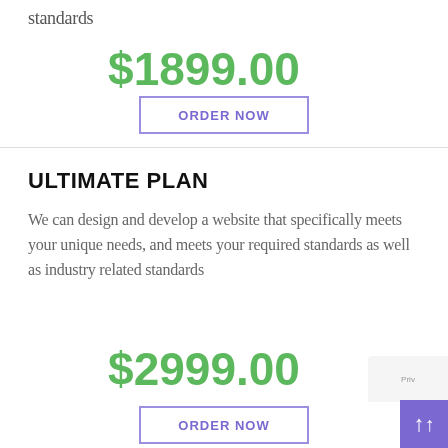standards
$1899.00
ORDER NOW
ULTIMATE PLAN
We can design and develop a website that specifically meets your unique needs, and meets your required standards as well as industry related standards
$2999.00
ORDER NOW